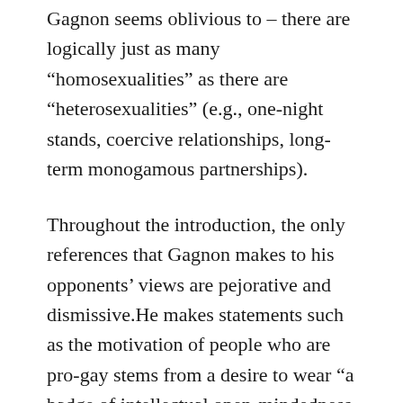Gagnon seems oblivious to – there are logically just as many “homosexualities” as there are “heterosexualities” (e.g., one-night stands, coercive relationships, long-term monogamous partnerships).
Throughout the introduction, the only references that Gagnon makes to his opponents’ views are pejorative and dismissive.He makes statements such as the motivation of people who are pro-gay stems from a desire to wear “a badge of intellectual open-mindedness and membership among the avant-garde of cultured society” (26).
Gagnon does mention that he supports vigorously